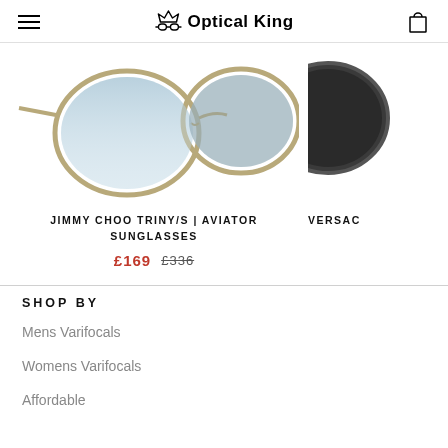Optical King
[Figure (photo): Jimmy Choo Triny/S aviator sunglasses with gold frame and light blue gradient lenses, partially cropped at top; second product (Versace) partially visible on the right]
JIMMY CHOO TRINY/S | AVIATOR SUNGLASSES
£169  £336
SHOP BY
Mens Varifocals
Womens Varifocals
Affordable